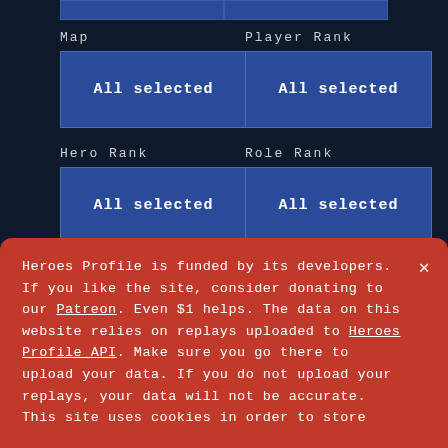[Figure (screenshot): Top partial blue buttons row]
Map
[Figure (screenshot): All selected button for Map]
Player Rank
[Figure (screenshot): All selected button for Player Rank]
Hero Rank
[Figure (screenshot): All selected button for Hero Rank]
Role Rank
[Figure (screenshot): All selected button for Role Rank]
Mirror Matches
Heroes Profile is funded by its developers. If you like the site, consider donating to our Patreon. Even $1 helps. The data on this website relies on replays uploaded to Heroes Profile API. Make sure you go there to upload your data. If you do not upload your replays, your data will not be accurate.
This site uses cookies in order to store